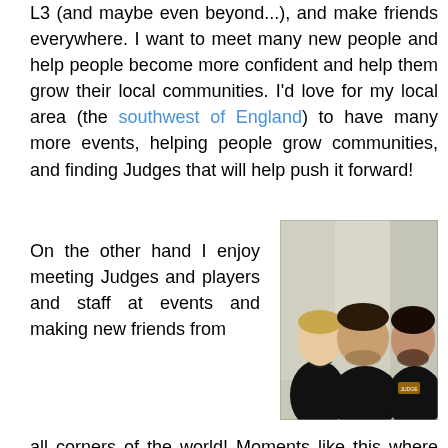L3 (and maybe even beyond...), and make friends everywhere. I want to meet many new people and help people become more confident and help them grow their local communities. I'd love for my local area (the southwest of England) to have many more events, helping people grow communities, and finding Judges that will help push it forward!
On the other hand I enjoy meeting Judges and players and staff at events and making new friends from all corners of the world! Moments like this where you get unexpectedly recognized is definitely motivation to carry
[Figure (photo): Three young men standing together, all wearing black shirts, posing for a photo indoors against a light-colored wall/curtain background.]